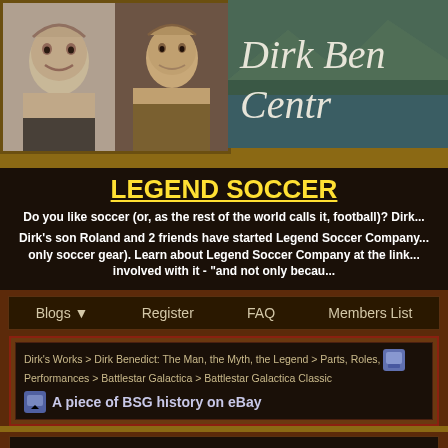[Figure (screenshot): Website header with two photos of Dirk Benedict (as child and adult) and a logo reading 'Dirk Ben... Centr...' over a lake/mountain background]
LEGEND SOCCER
Do you like soccer (or, as the rest of the world calls it, football)? Dirk...
Dirk's son Roland and 2 friends have started Legend Soccer Company... only soccer gear). Learn about Legend Soccer Company at the link... involved with it - "and not only becau...
[Figure (screenshot): Forum navigation bar with: Blogs (dropdown), Register, FAQ, Members List]
[Figure (screenshot): Forum thread breadcrumb navigation: Dirk's Works > Dirk Benedict: The Man, the Myth, the Legend > Parts, Roles, Performances > Battlestar Galactica > Battlestar Galactica Classic, with thread title icon and 'A piece of BSG history on eBay']
Battlestar Galactica Classic For discussions about the classic Battlestar series w... show posts here please.